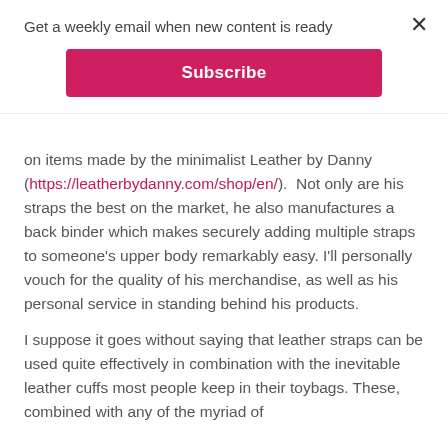Get a weekly email when new content is ready
Subscribe
on items made by the minimalist Leather by Danny (https://leatherbydanny.com/shop/en/).  Not only are his straps the best on the market, he also manufactures a back binder which makes securely adding multiple straps to someone's upper body remarkably easy. I'll personally vouch for the quality of his merchandise, as well as his personal service in standing behind his products.
I suppose it goes without saying that leather straps can be used quite effectively in combination with the inevitable leather cuffs most people keep in their toybags. These, combined with any of the myriad of